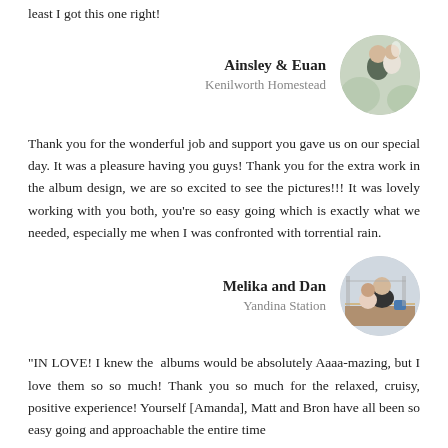least I got this one right!
Ainsley & Euan
Kenilworth Homestead
[Figure (photo): Circular cropped wedding photo of a couple, the groom in dark clothing and bride in white dress]
Thank you for the wonderful job and support you gave us on our special day. It was a pleasure having you guys! Thank you for the extra work in the album design, we are so excited to see the pictures!!! It was lovely working with you both, you're so easy going which is exactly what we needed, especially me when I was confronted with torrential rain.
Melika and Dan
Yandina Station
[Figure (photo): Circular cropped photo of a couple sitting on a deck, man in black t-shirt and woman beside him]
“IN LOVE! I knew the albums would be absolutely Aaaa-mazing, but I love them so so much! Thank you so much for the relaxed, cruisy, positive experience! Yourself [Amanda], Matt and Bron have all been so easy going and approachable the entire time